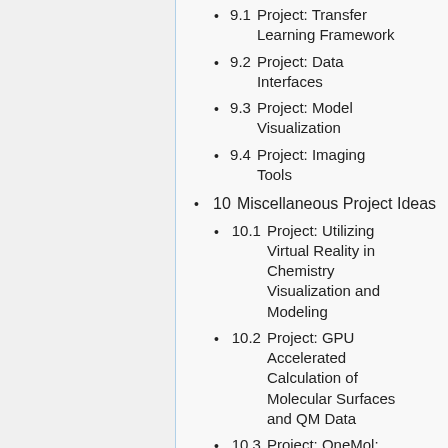9.1  Project: Transfer Learning Framework
9.2  Project: Data Interfaces
9.3  Project: Model Visualization
9.4  Project: Imaging Tools
10  Miscellaneous Project Ideas
10.1  Project: Utilizing Virtual Reality in Chemistry Visualization and Modeling
10.2  Project: GPU Accelerated Calculation of Molecular Surfaces and QM Data
10.3  Project: OneMol: